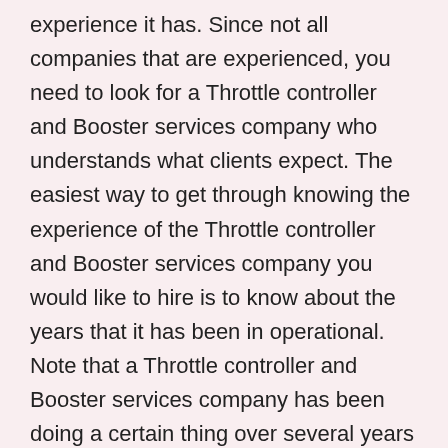experience it has. Since not all companies that are experienced, you need to look for a Throttle controller and Booster services company who understands what clients expect. The easiest way to get through knowing the experience of the Throttle controller and Booster services company you would like to hire is to know about the years that it has been in operational. Note that a Throttle controller and Booster services company has been doing a certain thing over several years has mastered what needs to be done and that is why it appears to be the right choice. Therefore, make sure that you ask this before making the final decision because if you fail to do so you might choose a newbie and regret it later. You can contact some of the previous clients and ask whether the Throttle controller and Booster services company is experienced or not.
Additionally consider the charge rate of services before you choose a Throttle controller and Booster services